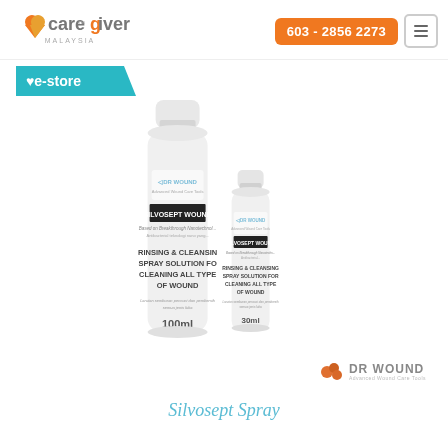[Figure (logo): Caregiver Malaysia logo with orange heart icon and grey/dark text]
603 - 2856 2273
[Figure (logo): e-store teal banner with heart icon]
[Figure (photo): Two white spray bottles of Silvosept Wound rinsing and cleansing spray solution - 100ml and 30ml sizes. Label shows DR WOUND brand, SILVOSEPT WOUND product name, RINSING & CLEANSING SPRAY SOLUTION FOR CLEANING ALL TYPES OF WOUND.]
[Figure (logo): DR WOUND logo - Advanced Wound Care Tools]
Silvosept Spray